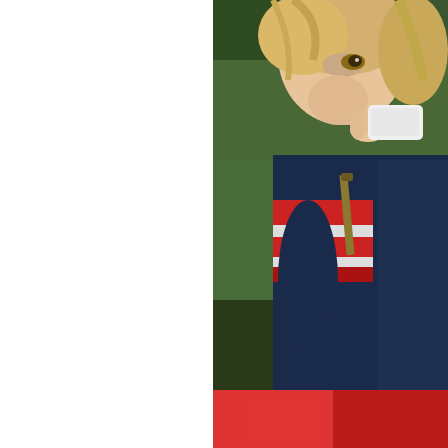[Figure (photo): Close-up photo of a young blonde girl wearing a navy, red and white striped long-sleeve shirt, holding something small and white up near her face/mouth, with a blurred green outdoor background.]
My girl has a big heart - picking up strays. This little guy fell out of a tree and broke h... hopes he'd feel better. (I can't tell you the... their pre-schooler to play with ... )
[Figure (photo): Partial photo showing a red garment or surface at the bottom of the page.]